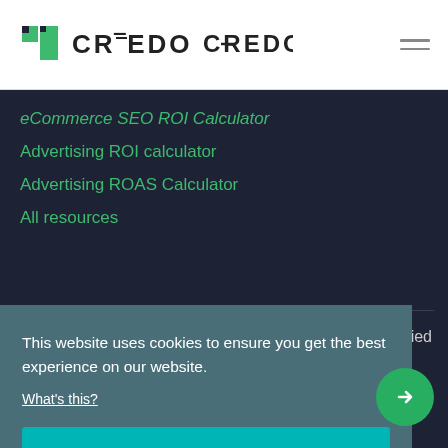CREDO
eCommerce SEO ROI Calculator
Advertising ROI calculator
Advertising ROAS Calculator
All resources
This website uses cookies to ensure you get the best experience on our website.
What's this?
Got it